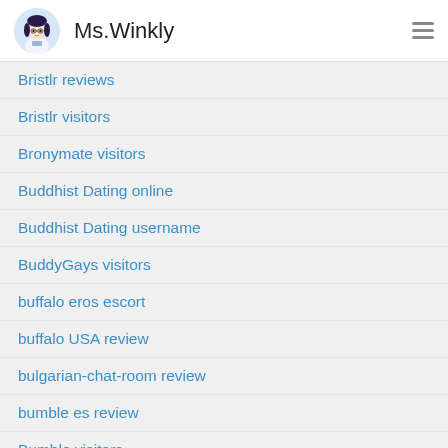Ms.Winkly
Bristlr reviews
Bristlr visitors
Bronymate visitors
Buddhist Dating online
Buddhist Dating username
BuddyGays visitors
buffalo eros escort
buffalo USA review
bulgarian-chat-room review
bumble es review
Bumble visitors
bumble vs coffee meets bagel girls